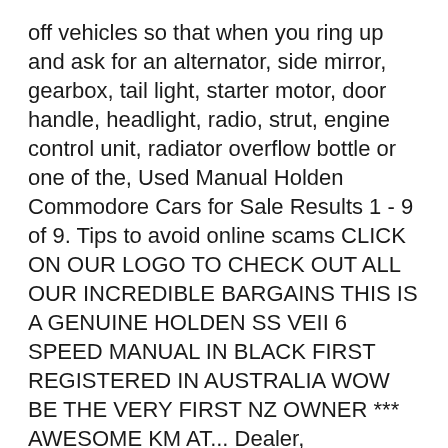off vehicles so that when you ring up and ask for an alternator, side mirror, gearbox, tail light, starter motor, door handle, headlight, radio, strut, engine control unit, radiator overflow bottle or one of the, Used Manual Holden Commodore Cars for Sale Results 1 - 9 of 9. Tips to avoid online scams CLICK ON OUR LOGO TO CHECK OUT ALL OUR INCREDIBLE BARGAINS THIS IS A GENUINE HOLDEN SS VEII 6 SPEED MANUAL IN BLACK FIRST REGISTERED IN AUSTRALIA WOW BE THE VERY FIRST NZ OWNER *** AWESOME KM AT... Dealer, AUCKLAND +Watchlist;.
VR SS MANUAL BURNOUT